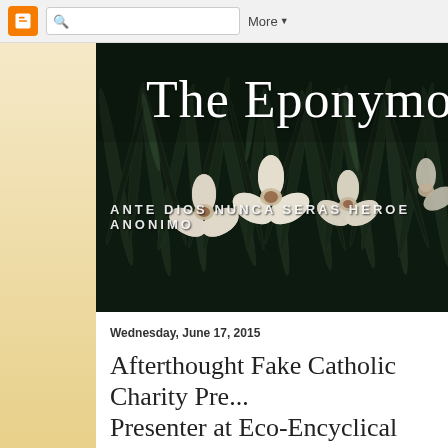Blogger navigation bar with search and More button
[Figure (photo): Blog header image: black and white photo of daffodil flowers with dark foliage background. Overlaid text reads 'The Eponymo' and 'ANTE DIOS NUNCA SERAS HEROE ANONIMO']
Wednesday, June 17, 2015
Afterthought Fake Catholic Charity Pre... Presenter at Eco-Encyclical